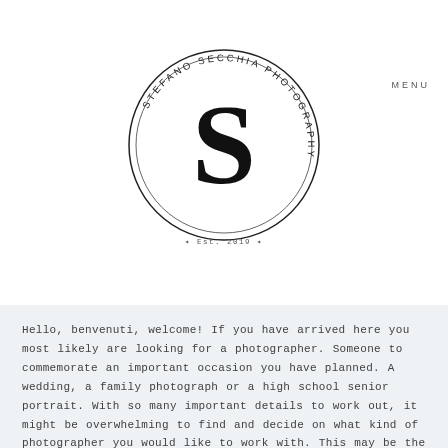[Figure (logo): Stefano Secchia Photography circular logo with large S in the center, text around the circle reading STEFANO SECCHIA PHOTOGRAPHY, and Est. 2014 at the bottom]
MENU
Hello, benvenuti, welcome! If you have arrived here you most likely are looking for a photographer. Someone to commemorate an important occasion you have planned. A wedding, a family photograph or a high school senior portrait. With so many important details to work out, it might be overwhelming to find and decide on what kind of photographer you would like to work with. This may be the first time you or your family has worked with a professional photographer and you might feel camera shy. Or maybe you have extended-family coming together for the first time who you are worried about. Maybe you